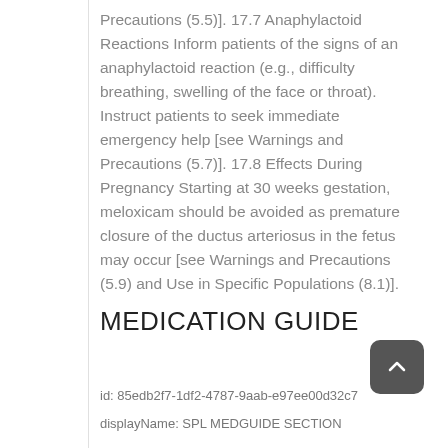Precautions (5.5)]. 17.7 Anaphylactoid Reactions Inform patients of the signs of an anaphylactoid reaction (e.g., difficulty breathing, swelling of the face or throat). Instruct patients to seek immediate emergency help [see Warnings and Precautions (5.7)]. 17.8 Effects During Pregnancy Starting at 30 weeks gestation, meloxicam should be avoided as premature closure of the ductus arteriosus in the fetus may occur [see Warnings and Precautions (5.9) and Use in Specific Populations (8.1)].
MEDICATION GUIDE
id: 85edb2f7-1df2-4787-9aab-e97ee00d32c7
displayName: SPL MEDGUIDE SECTION